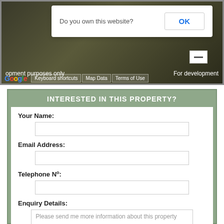[Figure (screenshot): Google Maps screenshot showing a dialog box 'Do you own this website?' with an OK button, map with satellite view overlay, Google logo, Keyboard shortcuts, Map Data, and Terms of Use links]
INTERESTED IN THIS PROPERTY?
Your Name:
Email Address:
Telephone Nº:
Enquiry Details:
Please send me more information about this property